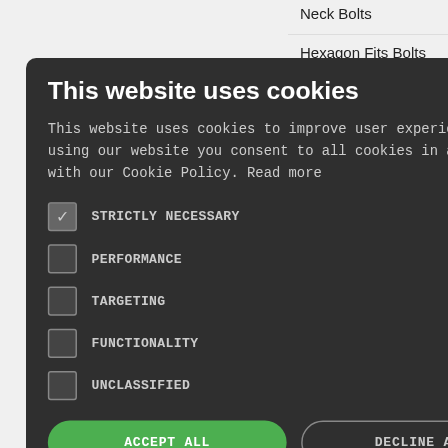Neck Bolts
Hexagon Fits Bolts with long thread
Spherical Washers and conical seats
Parallel Pins, hardened: tolerance zone m6
Washers for clamping devices
[Figure (screenshot): Cookie consent modal dialog with dark background. Title: 'This website uses cookies'. Body text: 'This website uses cookies to improve user experience. By using our website you consent to all cookies in accordance with our Cookie Policy. Read more'. Checkboxes: STRICTLY NECESSARY (checked), PERFORMANCE (unchecked), TARGETING (unchecked), FUNCTIONALITY (unchecked), UNCLASSIFIED (unchecked). Buttons: ACCEPT ALL (green), DECLINE ALL (outline). Show details link with gear icon at bottom.]